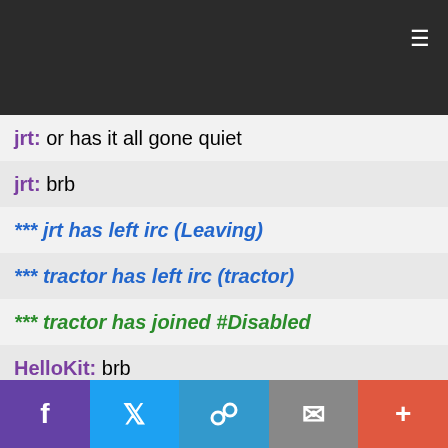[Figure (screenshot): Dark top navigation bar with hamburger menu icon on the right]
jrt: or has it all gone quiet
jrt: brb
*** jrt has left irc (Leaving)
*** tractor has left irc (tractor)
*** tractor has joined #Disabled
HelloKit: brb
*** HelloKit is now known as KittyBRB
Raven_: ritzy, I'm a male-feminist
*** Ray-1 has joined #disabled
judi: Hi Ray 1
[Figure (screenshot): Social share bottom bar with Facebook, Twitter, link, email, and plus buttons]